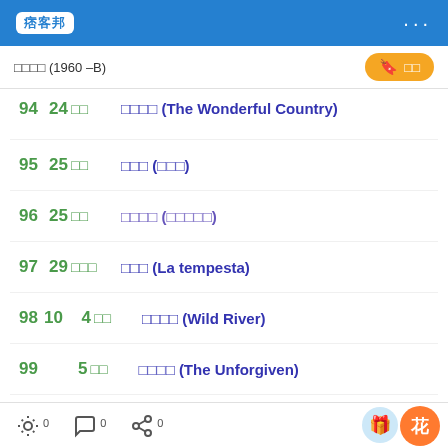痞客邦
□□□□ (1960 –B)
94  24 □□  □□□□ (The Wonderful Country)
95  25 □□  □□□ (□□□)
96  25 □□  □□□□ (□□□□□)
97  29 □□□  □□□ (La tempesta)
98 10  4 □□  □□□□ (Wild River)
99  5 □□  □□□□ (The Unforgiven)
100  6 □□□  □□□□□
0  0  0